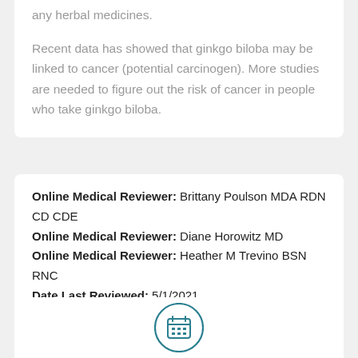any herbal medicines.

Recent data has showed that ginkgo biloba may be linked to cancer (potential carcinogen). More studies are needed to figure out the risk of cancer in people who take ginkgo biloba.
Online Medical Reviewer: Brittany Poulson MDA RDN CD CDE
Online Medical Reviewer: Diane Horowitz MD
Online Medical Reviewer: Heather M Trevino BSN RNC
Date Last Reviewed: 5/1/2021
[Figure (illustration): A teal/dark-cyan circular calendar icon with a simple calendar glyph in the center]